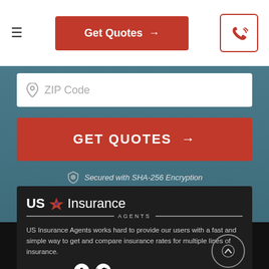[Figure (screenshot): Navigation bar with hamburger menu, Get Quotes button, and phone icon button]
[Figure (screenshot): ZIP Code input field on blue/teal background]
[Figure (screenshot): GET QUOTES red button]
Secured with SHA-256 Encryption
[Figure (logo): US Insurance Agents logo with star icon]
US Insurance Agents works hard to provide our users with a fast and simple way to get and compare insurance rates for multiple lines of insurance.
Follow us on: